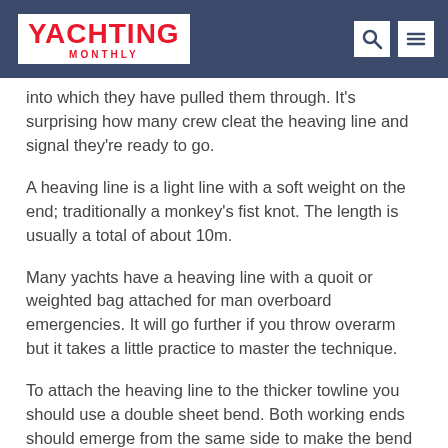YACHTING MONTHLY
into which they have pulled them through. It's surprising how many crew cleat the heaving line and signal they're ready to go.
A heaving line is a light line with a soft weight on the end; traditionally a monkey's fist knot. The length is usually a total of about 10m.
Many yachts have a heaving line with a quoit or weighted bag attached for man overboard emergencies. It will go further if you throw overarm but it takes a little practice to master the technique.
To attach the heaving line to the thicker towline you should use a double sheet bend. Both working ends should emerge from the same side to make the bend more stable.